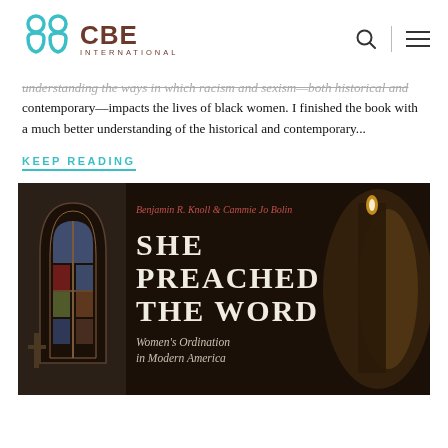[Figure (logo): CBE International logo with teal icon and brown text]
understanding the ways in which racism and sexism—both historical and contemporary—impacts the lives of black women. I finished the book with a much better understanding of the historical and contemporary...
KEEP READING
[Figure (photo): Book cover of 'She Preached the Word: Women's Ordination in Modern America' by Benjamin R. Knoll & Cammie Jo Bolin, dark background with stained glass church window on left and candle on right]